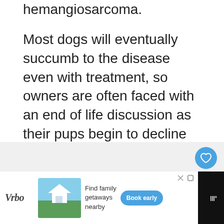hemangiosarcoma.
Most dogs will eventually succumb to the disease even with treatment, so owners are often faced with an end of life discussion as their pups begin to decline in health.
[Figure (screenshot): UI overlay showing a like (heart) button in blue circle and a share button in white circle with shadow]
[Figure (screenshot): What's Next panel showing dog thumbnail and text 'Where Can I Surrender M...']
[Figure (screenshot): Advertisement banner for Vrbo showing 'Find family getaways nearby' with Book early button]